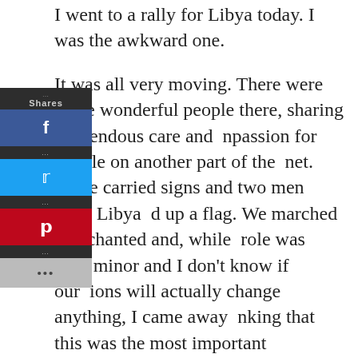I went to a rally for Libya today. I was the awkward one.
It was all very moving. There were some wonderful people there, sharing tremendous care and compassion for people on another part of the planet. Some carried signs and two men from Libya held up a flag. We marched and chanted and, while my role was very minor and I don't know if our actions will actually change anything, I came away thinking that this was the most important thing I'd done in a long, long time.
I have to admit upfront that I have never really been the protester type. The closest I came to protesting something before this was at the end of grade 10, when I burnt my math book. Since the year had ended by then I'm not sure if that even